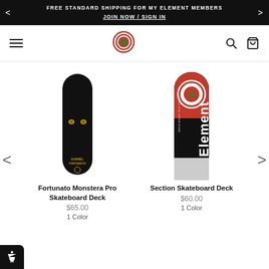FREE STANDARD SHIPPING FOR MY ELEMENT MEMBERS JOIN NOW / SIGN IN
[Figure (logo): Element skateboards logo - red circular badge with tree symbol in center]
[Figure (photo): Fortunato Monstera Pro Skateboard Deck - black deck with glowing yellow eyes design]
Fortunato Monstera Pro Skateboard Deck
$65.00
1 Color
[Figure (photo): Section Skateboard Deck - red, white and black deck with Element branding and wind-water-fire-earth text]
Section Skateboard Deck
$60.00
1 Color